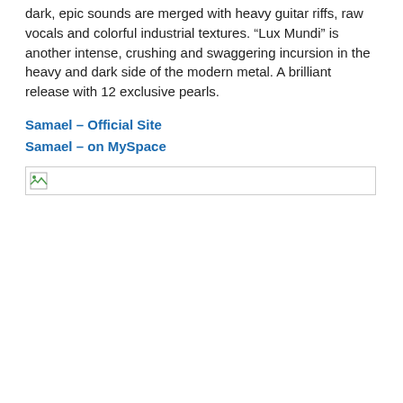dark, epic sounds are merged with heavy guitar riffs, raw vocals and colorful industrial textures. “Lux Mundi” is another intense, crushing and swaggering incursion in the heavy and dark side of the modern metal. A brilliant release with 12 exclusive pearls.
Samael – Official Site
Samael – on MySpace
[Figure (other): Broken image placeholder icon with border]